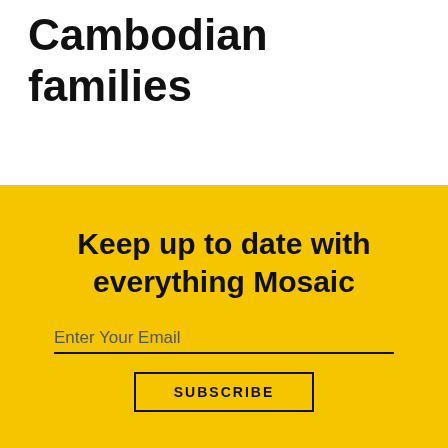Cambodian families
Keep up to date with everything Mosaic
Enter Your Email
SUBSCRIBE